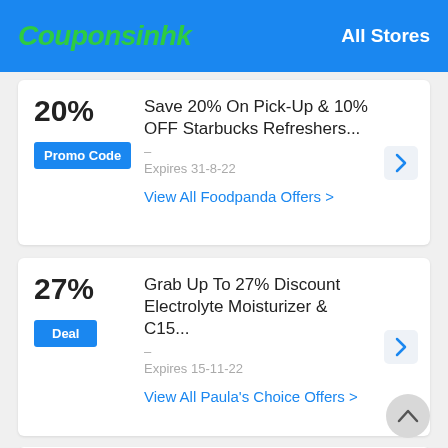Couponsinhk   All Stores
20%
Promo Code
Save 20% On Pick-Up & 10% OFF Starbucks Refreshers...
Expires 31-8-22
View All Foodpanda Offers >
27%
Deal
Grab Up To 27% Discount Electrolyte Moisturizer & C15...
Expires 15-11-22
View All Paula's Choice Offers >
Sales
Permanent Link To Perfumes – Wide Range Of Products Starti...
Expires 16-10-22